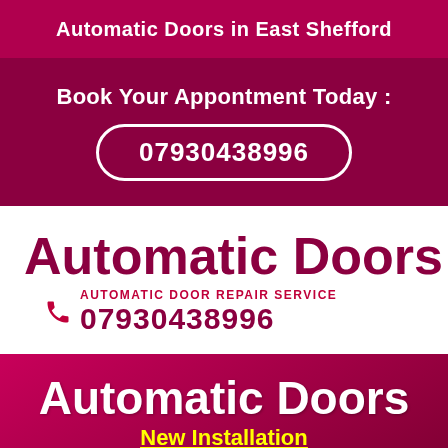Automatic Doors in East Shefford
Book Your Appontment Today :
07930438996
Automatic Doors
AUTOMATIC DOOR REPAIR SERVICE
07930438996
Automatic Doors
New Installation
Maintenance - Service - Repairs